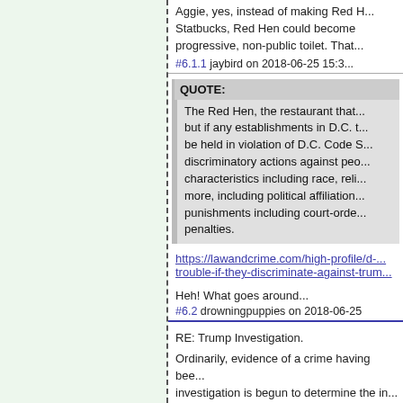Aggie, yes, instead of making Red H... Statbucks, Red Hen could become progressive, non-public toilet. That...
#6.1.1 jaybird on 2018-06-25 15:30
QUOTE:
The Red Hen, the restaurant that... but if any establishments in D.C. t... be held in violation of D.C. Code S... discriminatory actions against peo... characteristics including race, reli... more, including political affiliation... punishments including court-orde... penalties.
https://lawandcrime.com/high-profile/d-... trouble-if-they-discriminate-against-trum...
Heh! What goes around...
#6.2 drowningpuppies on 2018-06-25
RE: Trump Investigation.
Ordinarily, evidence of a crime having bee... investigation is begun to determine the in...